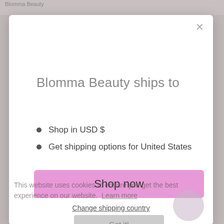Blomma Beauty
Blomma Beauty ships to
Shop in USD $
Get shipping options for United States
Shop now
Change shipping country
This website uses cookies to ensure you get the best experience on our website.  Learn more
Got it!